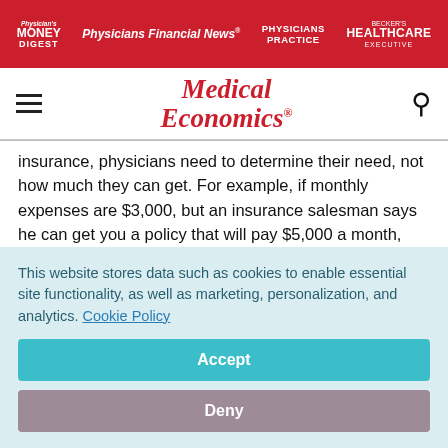Physician's Money Digest | Physicians Financial News | Physicians Practice | Becker's Healthcare Executive
[Figure (logo): Medical Economics logo - red italic serif text]
insurance, physicians need to determine their need, not how much they can get. For example, if monthly expenses are $3,000, but an insurance salesman says he can get you a policy that will pay $5,000 a month, you are paying more to over-insure yourself. While having more coverage than needed is not always wrong, controlling expenses today in order to
This website stores data such as cookies to enable essential site functionality, as well as marketing, personalization, and analytics. Cookie Policy
Accept
Deny